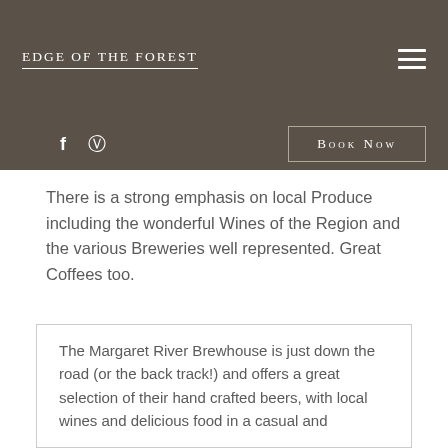Edge Of The Forest
[Figure (logo): Edge Of The Forest text logo in white small-caps on dark olive/brown background header bar]
[Figure (infographic): Facebook and Instagram social icons in white, and a Book Now button with border]
There is a strong emphasis on local Produce including the wonderful Wines of the Region and the various Breweries well represented. Great Coffees too.
The Margaret River Brewhouse is just down the road (or the back track!) and offers a great selection of their hand crafted beers, with local wines and delicious food in a casual and